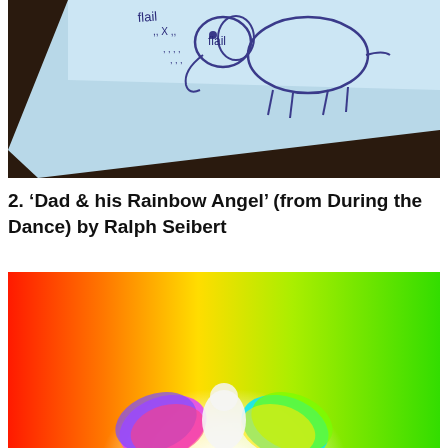[Figure (photo): Photograph of a hand-drawn sketch on light blue paper showing an animal (possibly an elephant) with handwritten text including 'flail' and 'flail' annotations, placed on a dark wooden surface]
2. ‘Dad & his Rainbow Angel’ (from During the Dance) by Ralph Seibert
[Figure (photo): Colorful artwork showing a figure with rainbow-colored wings against a vivid rainbow background of red, orange, yellow, and green gradients, with a bright white glow in the center]